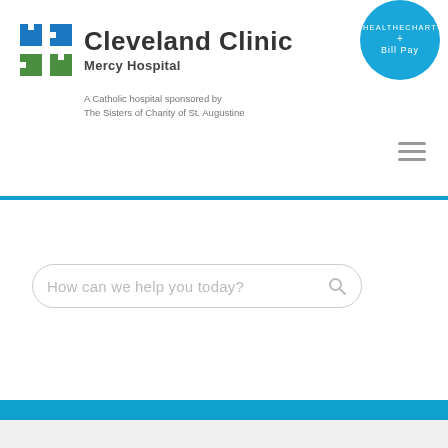[Figure (logo): Cleveland Clinic Mercy Hospital logo with cross icon, title, subtitle, and tagline. Includes HEALTHeChart + Bill Pay blue circle badge in top right.]
How can we help you today?
[Figure (screenshot): Blue background area filling the lower portion of the page, representing a hospital website screenshot hero section.]